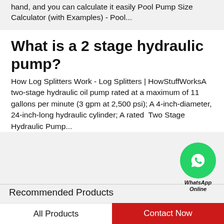hand, and you can calculate it easily Pool Pump Size Calculator (with Examples) - Pool...
What is a 2 stage hydraulic pump?
How Log Splitters Work - Log Splitters | HowStuffWorksA two-stage hydraulic oil pump rated at a maximum of 11 gallons per minute (3 gpm at 2,500 psi); A 4-inch-diameter, 24-inch-long hydraulic cylinder; A rated  Two Stage Hydraulic Pump...
[Figure (logo): WhatsApp contact button - green circle with phone icon, labeled WhatsApp Online]
Recommended Products
[Figure (photo): Angular contact ball bearing - black and silver ring bearing viewed from front]
[Figure (photo): Roller bearing - silver/gray toothed ring bearing viewed from front]
All Products
Contact Now